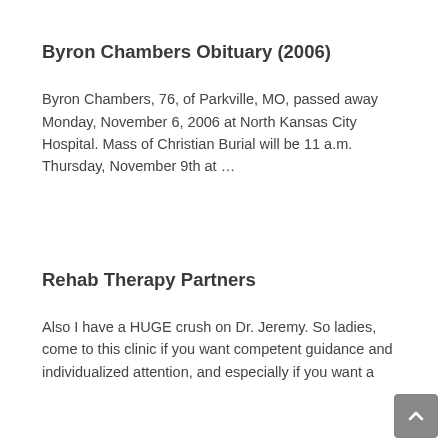Byron Chambers Obituary (2006)
Byron Chambers, 76, of Parkville, MO, passed away Monday, November 6, 2006 at North Kansas City Hospital. Mass of Christian Burial will be 11 a.m. Thursday, November 9th at …
Rehab Therapy Partners
Also I have a HUGE crush on Dr. Jeremy. So ladies, come to this clinic if you want competent guidance and individualized attention, and especially if you want a